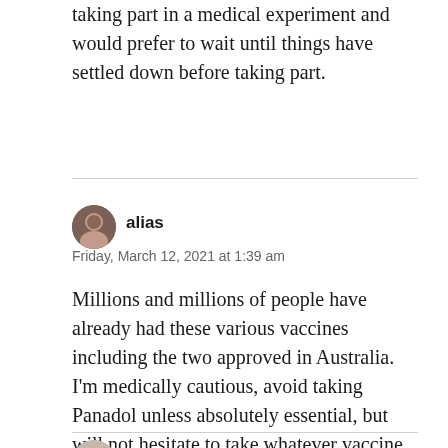taking part in a medical experiment and would prefer to wait until things have settled down before taking part.
[Figure (photo): Round avatar photo of user alias]
alias
Friday, March 12, 2021 at 1:39 am
Millions and millions of people have already had these various vaccines including the two approved in Australia. I'm medically cautious, avoid taking Panadol unless absolutely essential, but will not hesitate to take whatever vaccine is offered to me.
[Figure (photo): Round avatar photo of next commenter (partially visible)]